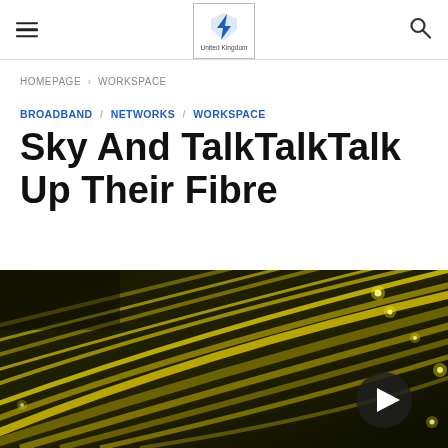Navigation bar with hamburger menu, ISPreview United Kingdom logo, and search icon
HOMEPAGE › WORKSPACE
BROADBAND / NETWORKS / WORKSPACE
Sky And TalkTalkTalk Up Their Fibre
[Figure (photo): Close-up photo of illuminated fibre optic cables on a dark background, showing golden/yellow strands with glowing tips. A dark circular play button with a white triangle is overlaid in the lower right area.]